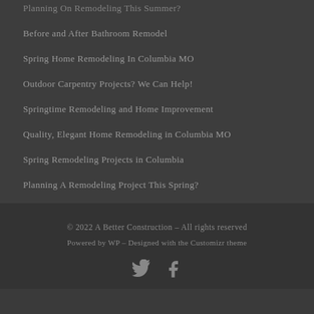Planning On Remodeling This Summer?
Before and After Bathroom Remodel
Spring Home Remodeling In Columbia MO
Outdoor Carpentry Projects? We Can Help!
Springtime Remodeling and Home Improvement
Quality, Elegant Home Remodeling in Columbia MO
Spring Remodeling Projects in Columbia
Planning A Remodeling Project This Spring?
© 2022 A Better Construction – All rights reserved
Powered by WP – Designed with the Customizr theme